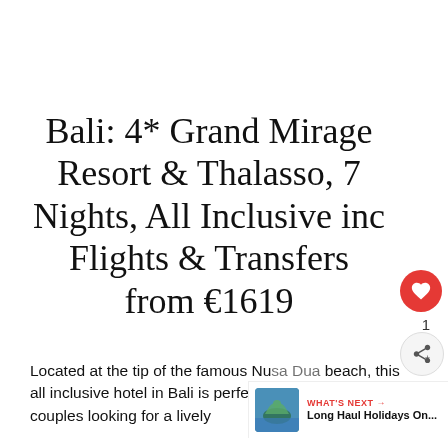Bali: 4* Grand Mirage Resort & Thalasso, 7 Nights, All Inclusive inc Flights & Transfers from €1619
Located at the tip of the famous Nu... beach, this all inclusive hotel in Bali is perfect for families and couples looking for a lively